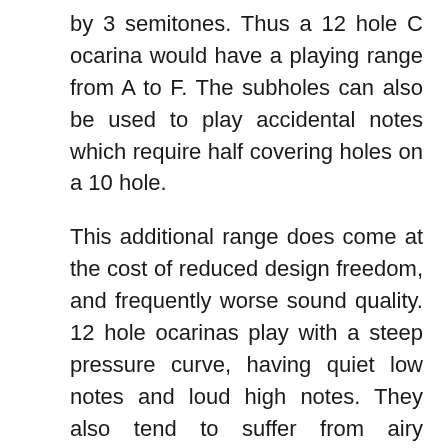by 3 semitones. Thus a 12 hole C ocarina would have a playing range from A to F. The subholes can also be used to play accidental notes which require half covering holes on a 10 hole.
This additional range does come at the cost of reduced design freedom, and frequently worse sound quality. 12 hole ocarinas play with a steep pressure curve, having quiet low notes and loud high notes. They also tend to suffer from airy sounding high notes, and weak low notes.
11 hole ocarinas